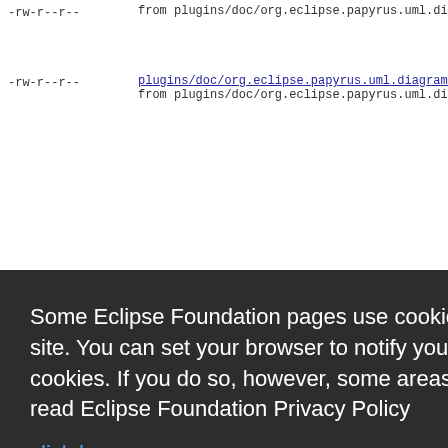-rw-r--r--  from plugins/doc/org.eclipse.papyrus.uml.diagram.profile...
-rw-r--r--  plugins/doc/org.eclipse.papyrus.uml.diagram.profile.doc... from plugins/doc/org.eclipse.papyrus.uml.diagram.profile...
Some Eclipse Foundation pages use cookies to better serve you when you return to the site. You can set your browser to notify you before you receive a cookie or turn off cookies. If you do so, however, some areas of some sites may not function properly. To read Eclipse Foundation Privacy Policy
click here.
Decline
Allow cookies
profile.doc... (multiple right-side truncated links)
-rw-r--r--  plugins/doc/org.eclipse.papyrus.uml.diagram.profile... (bottom row)